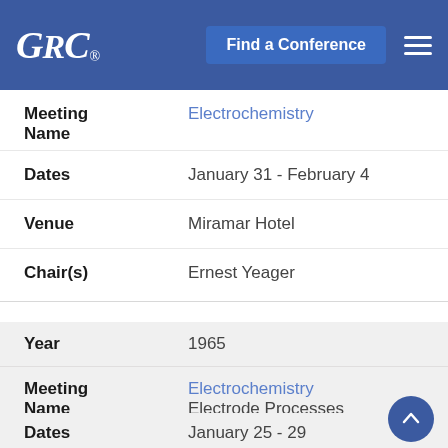GRC® — Find a Conference
| Field | Value |
| --- | --- |
| Meeting Name | Electrochemistry |
| Dates | January 31 - February 4 |
| Venue | Miramar Hotel |
| Chair(s) | Ernest Yeager |
| Field | Value |
| --- | --- |
| Year | 1965 |
| Meeting Name | Electrochemistry
Electrode Processes |
| Dates | January 25 - 29 |